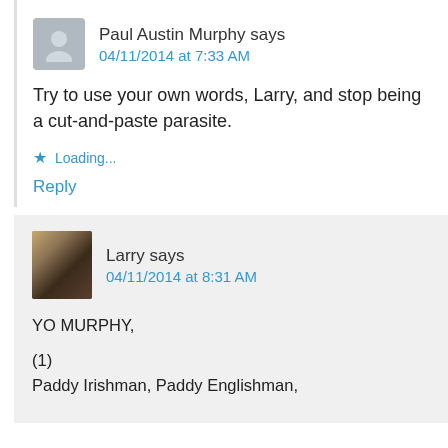Paul Austin Murphy says
04/11/2014 at 7:33 AM
Try to use your own words, Larry, and stop being a cut-and-paste parasite.
Loading...
Reply
Larry says
04/11/2014 at 8:31 AM
YO MURPHY,

(1)
Paddy Irishman, Paddy Englishman,